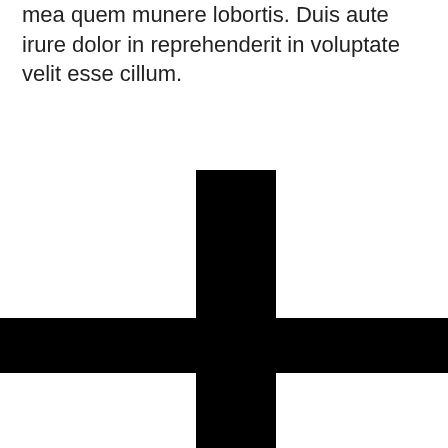mea quem munere lobortis. Duis aute irure dolor in reprehenderit in voluptate velit esse cillum.
[Figure (illustration): A large black plus/cross shape centered horizontally on the page, with a tall vertical bar and a wide horizontal bar intersecting near the upper-middle area of the cross.]